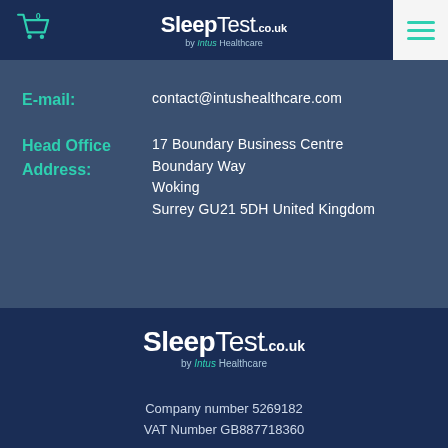SleepTest.co.uk by Intus Healthcare — navigation header with cart (0) and hamburger menu
E-mail: contact@intushealthcare.com
Head Office Address: 17 Boundary Business Centre, Boundary Way, Woking, Surrey GU21 5DH United Kingdom
[Figure (logo): SleepTest.co.uk by Intus Healthcare logo in white on dark navy background]
Company number 5269182
VAT Number GB887718360